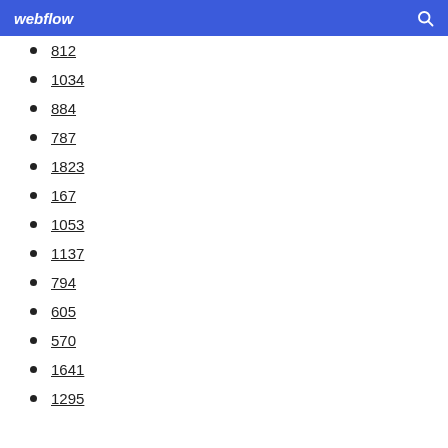webflow
812
1034
884
787
1823
167
1053
1137
794
605
570
1641
1295